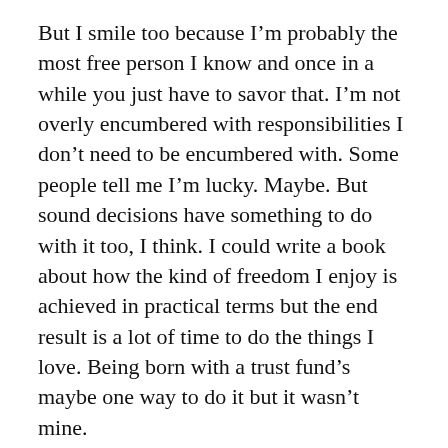But I smile too because I'm probably the most free person I know and once in a while you just have to savor that. I'm not overly encumbered with responsibilities I don't need to be encumbered with. Some people tell me I'm lucky. Maybe. But sound decisions have something to do with it too, I think. I could write a book about how the kind of freedom I enjoy is achieved in practical terms but the end result is a lot of time to do the things I love. Being born with a trust fund's maybe one way to do it but it wasn't mine.
I use a pole mostly nowadays – I've cut out the reel for the most part and basically fish with a string tied to the end of a pole and…